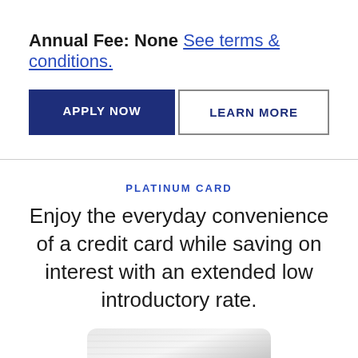Annual Fee: None See terms & conditions.
APPLY NOW
LEARN MORE
PLATINUM CARD
Enjoy the everyday convenience of a credit card while saving on interest with an extended low introductory rate.
[Figure (photo): Drake Bank platinum credit card — silver/metallic card with Drake Bank logo at bottom right]